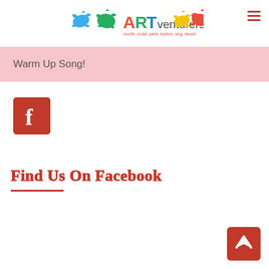ARTventurers logo with paint splats
Warm Up Song!
[Figure (logo): Facebook icon - red square with white f letter]
Find Us On Facebook
[Figure (other): Scroll to top button - red square with white up arrow]